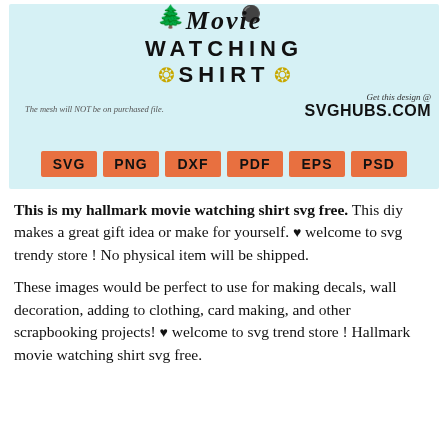[Figure (illustration): Product image on light blue background showing 'Hallmark Movie Watching Shirt' text design with holiday decorations (Christmas tree, ornament), gold swirl decorations, and format badges (SVG, PNG, DXF, PDF, EPS, PSD) in orange. Also shows 'Get this design @ SVGHUBS.COM' and 'The mesh will NOT be on purchased file.' text.]
This is my hallmark movie watching shirt svg free. This diy makes a great gift idea or make for yourself. ♥ welcome to svg trendy store ! No physical item will be shipped.
These images would be perfect to use for making decals, wall decoration, adding to clothing, card making, and other scrapbooking projects! ♥ welcome to svg trend store ! Hallmark movie watching shirt svg free.